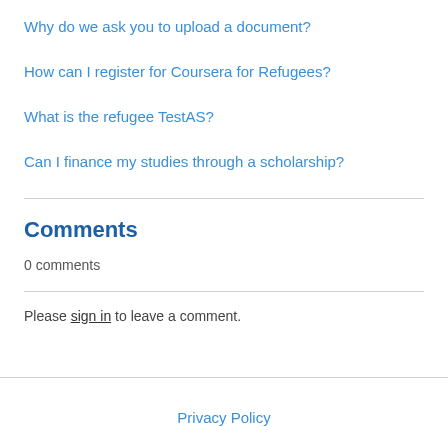Why do we ask you to upload a document?
How can I register for Coursera for Refugees?
What is the refugee TestAS?
Can I finance my studies through a scholarship?
Comments
0 comments
Please sign in to leave a comment.
Privacy Policy